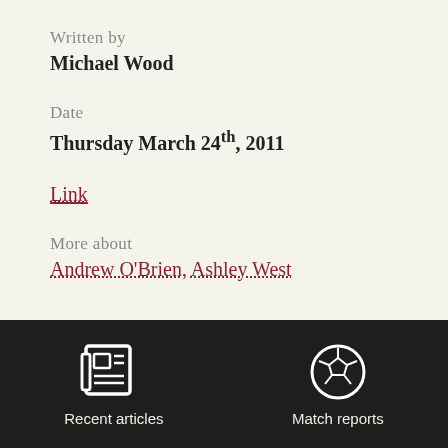Written by
Michael Wood
Date
Thursday March 24th, 2011
Link
More about
Andrew O'Brien, Ashley West
[Figure (illustration): Newspaper/articles icon (white outline on dark background) with label 'Recent articles']
[Figure (illustration): Soccer ball icon (white outline on dark background) with label 'Match reports']